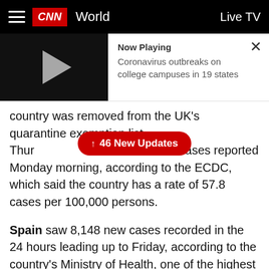CNN  World  Live TV
[Figure (screenshot): Video thumbnail with play button showing 'Now Playing: Coronavirus outbreaks on college campuses in 19 states']
country was removed from the UK's quarantine exemption list Thur... 171 new cases reported Monday morning, according to the ECDC, which said the country has a rate of 57.8 cases per 100,000 persons.
Spain saw 8,148 new cases recorded in the 24 hours leading up to Friday, according to the country's Ministry of Health, one of the highest daily increases since lockdown measures were eased at the end of June. Spain currently has the highest infection rate of any country in Europe, according to the ECDC, with a 14-day cumulative number of cases of 150.7 per 100,000...